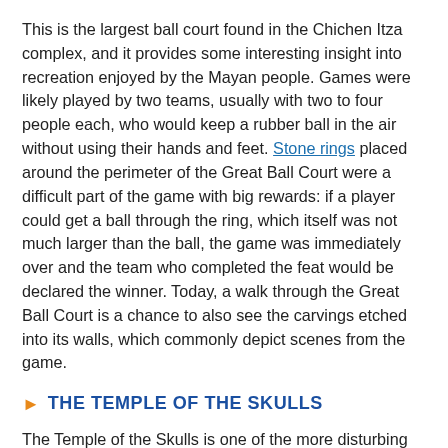This is the largest ball court found in the Chichen Itza complex, and it provides some interesting insight into recreation enjoyed by the Mayan people. Games were likely played by two teams, usually with two to four people each, who would keep a rubber ball in the air without using their hands and feet. Stone rings placed around the perimeter of the Great Ball Court were a difficult part of the game with big rewards: if a player could get a ball through the ring, which itself was not much larger than the ball, the game was immediately over and the team who completed the feat would be declared the winner. Today, a walk through the Great Ball Court is a chance to also see the carvings etched into its walls, which commonly depict scenes from the game.
THE TEMPLE OF THE SKULLS
The Temple of the Skulls is one of the more disturbing sights at Chichen Itza. Decorated with carvings of human skulls, sacrifices, and even birds eating human hearts, the platform was once used to display the heads of human sacrifices and those who lost their lives playing dangerous games on the